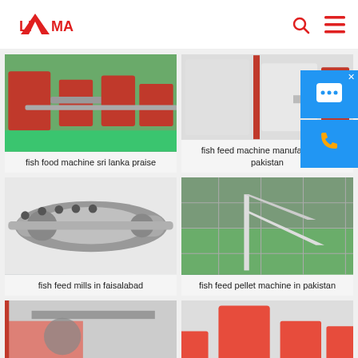[Figure (logo): LIMA brand logo - red triangular mountain shape with LIMA text]
[Figure (photo): Fish food machine sri lanka - industrial extrusion machines on green factory floor]
fish food machine sri lanka praise
[Figure (photo): Fish feed machine manufacturer in pakistan - red and white industrial feed machine]
fish feed machine manufacturer in pakistan
[Figure (photo): Fish feed mills in faisalabad - close-up of metallic screw extruder component]
fish feed mills in faisalabad
[Figure (photo): Fish feed pellet machine in pakistan - industrial facility interior overhead shot]
fish feed pellet machine in pakistan
[Figure (photo): Partial view - worker in industrial setting]
[Figure (photo): Partial view - red industrial machine components]